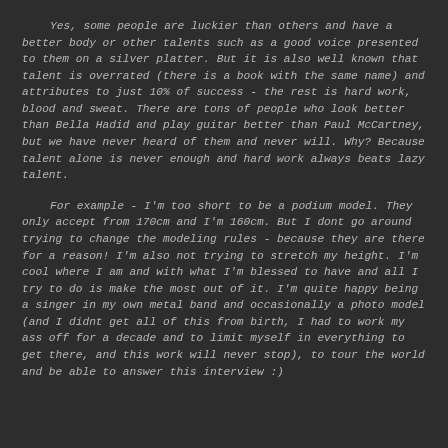Yes, some people are luckier than others and have a better body or other talents such as a good voice presented to them on a silver platter. But it is also well known that talent is overrated (there is a book with the same name) and attributes to just 10% of success - the rest is hard work, blood and sweat. There are tons of people who look better than Bella Hadid and play guitar better than Paul McCartney, but we have never heard of them and never will. Why? Because talent alone is never enough and hard work always beats lazy talent.
For example - I'm too short to be a podium model. They only accept from 170cm and I'm 160cm. But I dont go around trying to change the modeling rules - because they are there for a reason! I'm also not trying to stretch my height. I'm cool where I am and with what I'm blessed to have and all I try to do is make the most out of it. I'm quite happy being a singer in my own metal band and occasionally a photo model (and I didnt get all of this from birth, I had to work my ass off for a decade and to limit myself in everything to get there, and this work will never stop), to tour the world and be able to answer this interview :)